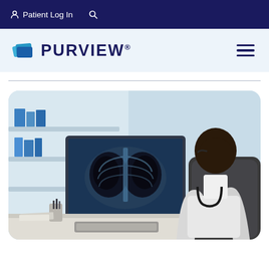Patient Log In  🔍
[Figure (logo): Purview logo with blue layered card icon and PURVIEW® wordmark in navy blue]
[Figure (photo): Doctor in white coat sitting at desk viewing chest X-ray on computer monitor, back-facing view, rounded rectangle image]